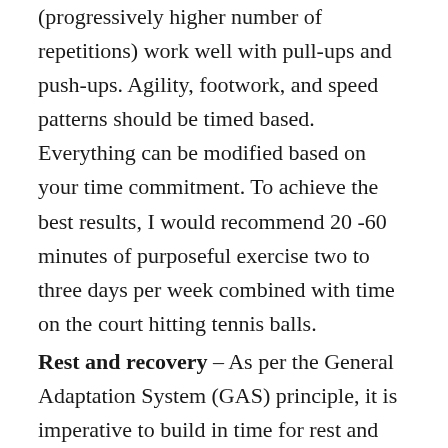(progressively higher number of repetitions) work well with pull-ups and push-ups. Agility, footwork, and speed patterns should be timed based. Everything can be modified based on your time commitment. To achieve the best results, I would recommend 20 -60 minutes of purposeful exercise two to three days per week combined with time on the court hitting tennis balls.
Rest and recovery – As per the General Adaptation System (GAS) principle, it is imperative to build in time for rest and recovery. Work to rest ratios between sets or timed sequences/circuits should range from 1:2 to 1:5 (as per the standard work to rest ratios for competitive tennis) with the intensity of your effort and the goals of your workout dictating actual times for